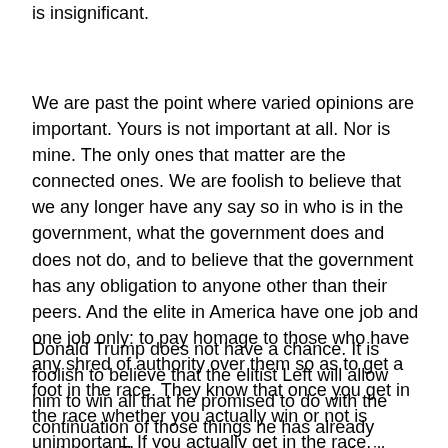is insignificant.
We are past the point where varied opinions are important.  Yours is not important at all.  Nor is mine.  The only ones that matter are the connected ones.  We are foolish to believe that we any longer have any say so in who is in the government, what the government does and does not do, and to believe that the government has any obligation to anyone other than their peers.  And the elite in America have one job and one job only:  to pay homage to those who have any shred of authority over them so as to get a foot in the race.  They know that once you get in the race whether you actually win or not is unimportant.  If you actually get in the race, you've won.
Donald Trump does not have a chance.  It is foolish to believe that the elitist Left will allow him to win all that he promised to do with the continuation of those things he has already instigated.  They have done, do now, and will continue to build